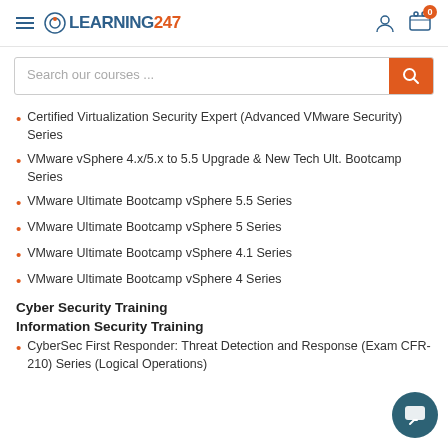LEARNING247
Certified Virtualization Security Expert (Advanced VMware Security) Series
VMware vSphere 4.x/5.x to 5.5 Upgrade & New Tech Ult. Bootcamp Series
VMware Ultimate Bootcamp vSphere 5.5 Series
VMware Ultimate Bootcamp vSphere 5 Series
VMware Ultimate Bootcamp vSphere 4.1 Series
VMware Ultimate Bootcamp vSphere 4 Series
Cyber Security Training
Information Security Training
CyberSec First Responder: Threat Detection and Response (Exam CFR-210) Series (Logical Operations)